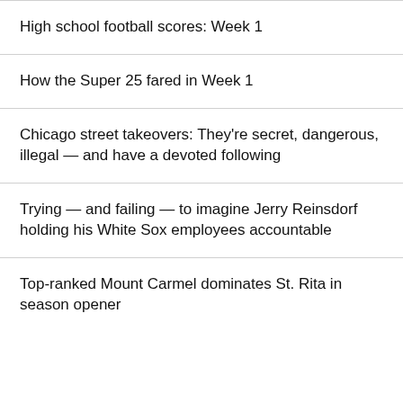High school football scores: Week 1
How the Super 25 fared in Week 1
Chicago street takeovers: They're secret, dangerous, illegal — and have a devoted following
Trying — and failing — to imagine Jerry Reinsdorf holding his White Sox employees accountable
Top-ranked Mount Carmel dominates St. Rita in season opener